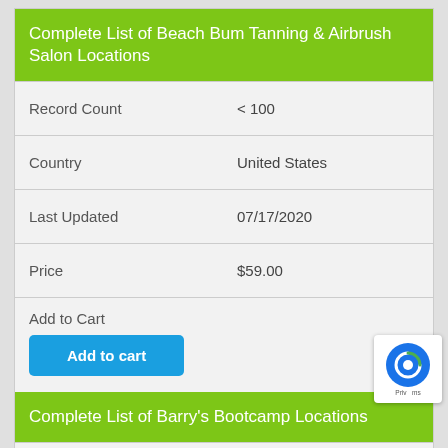Complete List of Beach Bum Tanning & Airbrush Salon Locations
| Field | Value |
| --- | --- |
| Record Count | < 100 |
| Country | United States |
| Last Updated | 07/17/2020 |
| Price | $59.00 |
| Add to Cart | [Add to cart button] |
Complete List of Barry's Bootcamp Locations
| Field | Value |
| --- | --- |
| Record Count | < 100 |